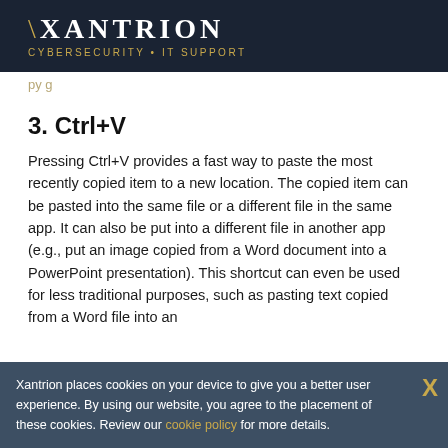XANTRION
CYBERSECURITY • IT SUPPORT
3. Ctrl+V
Pressing Ctrl+V provides a fast way to paste the most recently copied item to a new location. The copied item can be pasted into the same file or a different file in the same app. It can also be put into a different file in another app (e.g., put an image copied from a Word document into a PowerPoint presentation). This shortcut can even be used for less traditional purposes, such as pasting text copied from a Word file into an
Xantrion places cookies on your device to give you a better user experience. By using our website, you agree to the placement of these cookies. Review our cookie policy for more details.